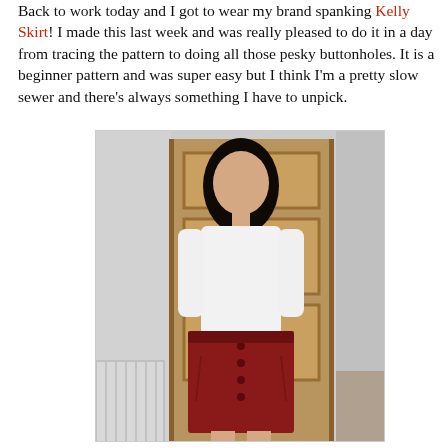Back to work today and I got to wear my brand spanking Kelly Skirt! I made this last week and was really pleased to do it in a day from tracing the pattern to doing all those pesky buttonholes. It is a beginner pattern and was super easy but I think I'm a pretty slow sewer and there's always something I have to unpick.
[Figure (photo): A woman with long dark hair wearing a white long-sleeve top and a red button-front knee-length skirt, standing in a doorway with a wooden door behind her. A white radiator is visible in the bottom left and a fireplace partially visible on the right.]